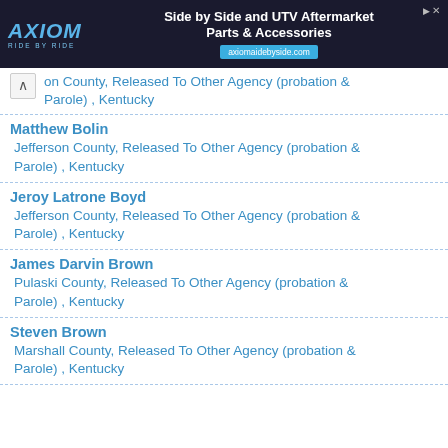[Figure (other): Advertisement banner for Axiom - Side by Side and UTV Aftermarket Parts & Accessories, axiomsidebyside.com]
on County, Released To Other Agency (probation & Parole) , Kentucky
Matthew Bolin
Jefferson County, Released To Other Agency (probation & Parole) , Kentucky
Jeroy Latrone Boyd
Jefferson County, Released To Other Agency (probation & Parole) , Kentucky
James Darvin Brown
Pulaski County, Released To Other Agency (probation & Parole) , Kentucky
Steven Brown
Marshall County, Released To Other Agency (probation & Parole) , Kentucky